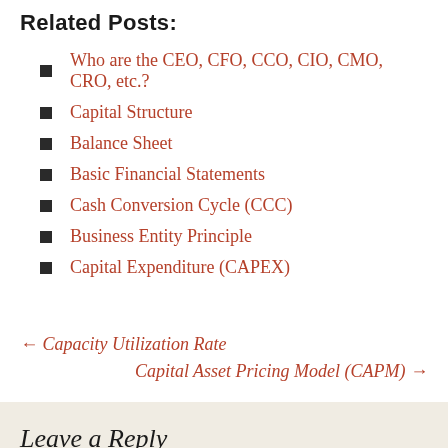Related Posts:
Who are the CEO, CFO, CCO, CIO, CMO, CRO, etc.?
Capital Structure
Balance Sheet
Basic Financial Statements
Cash Conversion Cycle (CCC)
Business Entity Principle
Capital Expenditure (CAPEX)
← Capacity Utilization Rate
Capital Asset Pricing Model (CAPM) →
Leave a Reply